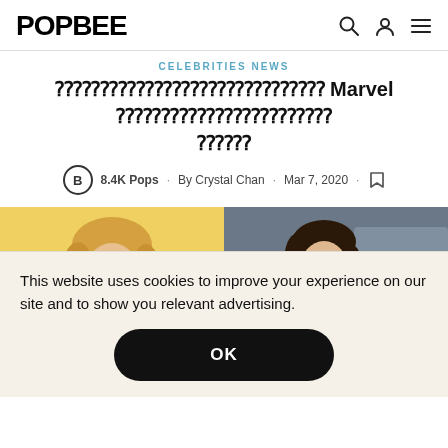POPBEE
CELEBRITIES NEWS
⬛⬛⬛⬛⬛⬛⬛⬛⬛⬛⬛⬛⬛⬛⬛ Marvel ⬛⬛⬛⬛⬛⬛⬛⬛⬛⬛⬛⬛ ⬛⬛⬛
8.4K Pops · By Crystal Chan · Mar 7, 2020 ·
[Figure (photo): Two female celebrities side by side — left photo has yellow background with blonde woman, right photo shows a smiling brunette woman outdoors]
This website uses cookies to improve your experience on our site and to show you relevant advertising.
OK